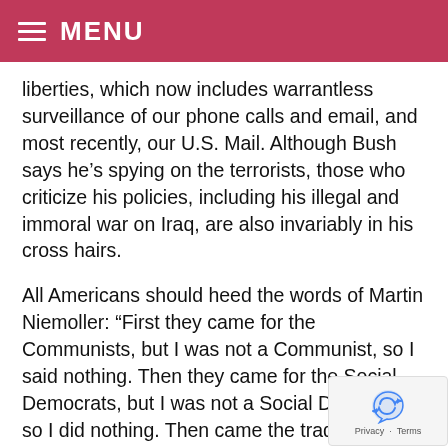≡ MENU
liberties, which now includes warrantless surveillance of our phone calls and email, and most recently, our U.S. Mail. Although Bush says he's spying on the terrorists, those who criticize his policies, including his illegal and immoral war on Iraq, are also invariably in his cross hairs.
All Americans should heed the words of Martin Niemoller: “First they came for the Communists, but I was not a Communist, so I said nothing. Then they came for the Social Democrats, but I was not a Social Democrat, so I did nothing. Then came the trade unionists, but I was not a trade unionist. And then they came for the Jews, but I was not a Jew, so I did little. Then when they came for me, there was no one left who could stand up for me.”